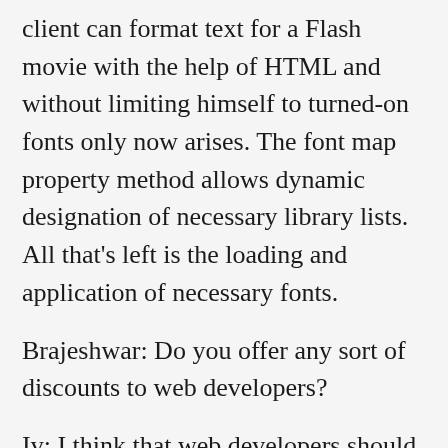client can format text for a Flash movie with the help of HTML and without limiting himself to turned-on fonts only now arises. The font map property method allows dynamic designation of necessary library lists. All that's left is the loading and application of necessary fonts.
Brajeshwar: Do you offer any sort of discounts to web developers?
Iv: I think that web developers should not pay for the SFM and was able to insist upon this. The full version of the product is available to them for free without any obligation. This also applies to